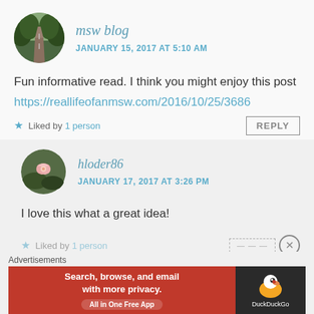msw blog
JANUARY 15, 2017 AT 5:10 AM
Fun informative read. I think you might enjoy this post
https://reallifeofanmsw.com/2016/10/25/3686
★ Liked by 1 person
REPLY
hloder86
JANUARY 17, 2017 AT 3:26 PM
I love this what a great idea!
★ Liked by 1 person
Advertisements
Search, browse, and email with more privacy. All in One Free App
DuckDuckGo